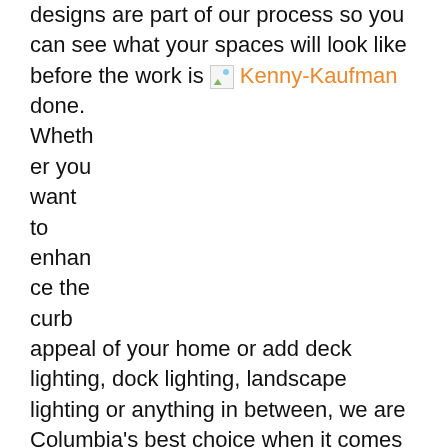designs are part of our process so you can see what your spaces will look like before the work is done. Whether you want to enhance the curb appeal of your home or add deck lighting, dock lighting, landscape lighting or anything in between, we are Columbia's best choice when it comes to custom outdoor lighting. Give us a call today to see what we can do for you.